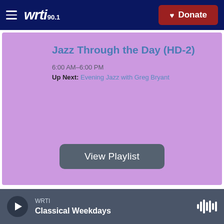WRTI 90.1 — Donate
Jazz Through the Day (HD-2)
6:00 AM–6:00 PM
Up Next: Evening Jazz with Greg Bryant
View Playlist
WRTI Classical Weekdays